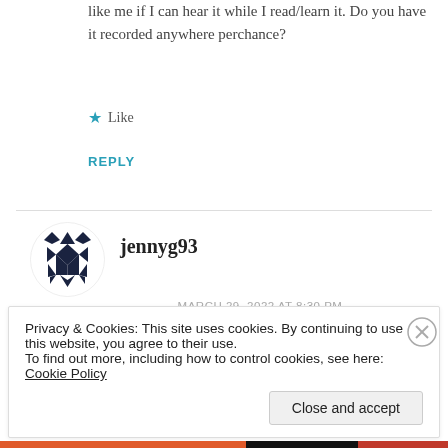like me if I can hear it while I read/learn it. Do you have it recorded anywhere perchance?
★ Like
REPLY
[Figure (illustration): Gravatar avatar for jennyg93: geometric pattern with black triangles and diamonds on white background, circular shape]
jennyg93
MARCH 29, 2022 AT 8:30 PM
Privacy & Cookies: This site uses cookies. By continuing to use this website, you agree to their use.
To find out more, including how to control cookies, see here: Cookie Policy
Close and accept